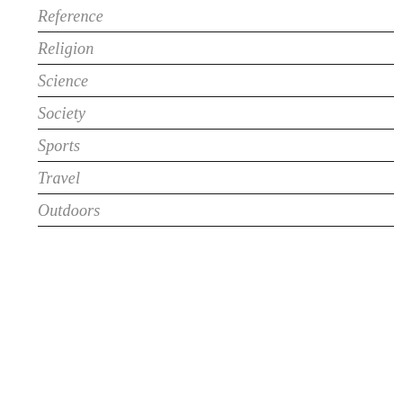Reference
Religion
Science
Society
Sports
Travel
Outdoors